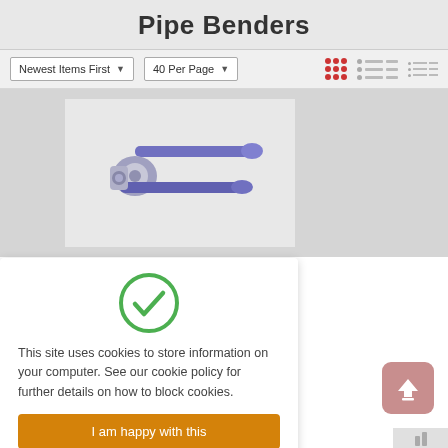Pipe Benders
Newest Items First  40 Per Page
[Figure (photo): A blue/purple manual pipe bender tool shown from the side, with two handles and a bending die.]
[Figure (other): Green circle with white checkmark icon — cookie consent accepted indicator.]
This site uses cookies to store information on your computer. See our cookie policy for further details on how to block cookies.
I am happy with this
[Figure (other): Orange/pink rounded square button with white upload arrow icon — scroll to top button.]